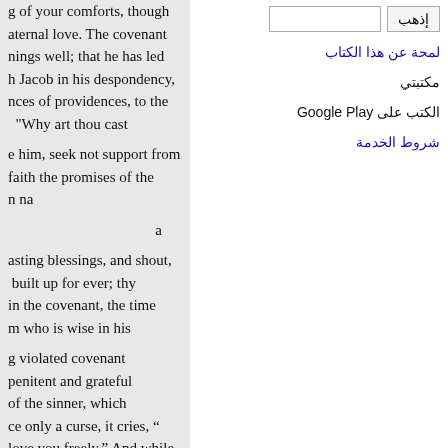g of your comforts, though aternal love. The covenant nings well; that he has led h Jacob in his despondency, nces of providences, to the "Why art thou cast
e him, seek not support from faith the promises of the n na
a
asting blessings, and shout, built up for ever; thy in the covenant, the time m who is wise in his
g violated covenant penitent and grateful of the sinner, which ce only a curse, it cries, "‭love you freely.‬" And while
[Figure (screenshot): Search bar with Arabic button labeled إذهب and an empty input field]
لمحة عن هذا الكتاب
مكتبتي
الكتب على Google Play
شروط الخدمة